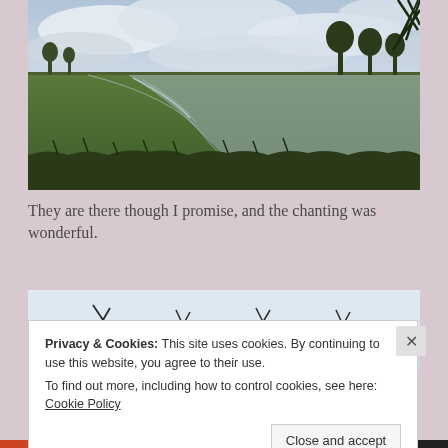[Figure (photo): Landscape photograph of a flat green marshland with a winding water channel or flooded area running through it. Cloudy sky above, trees visible on the horizon and in the upper right corner.]
They are there though I promise, and the chanting was wonderful.
[Figure (photo): Partial view of bare winter tree branches against a pale sky, bottom portion of image.]
Privacy & Cookies: This site uses cookies. By continuing to use this website, you agree to their use.
To find out more, including how to control cookies, see here: Cookie Policy
Close and accept